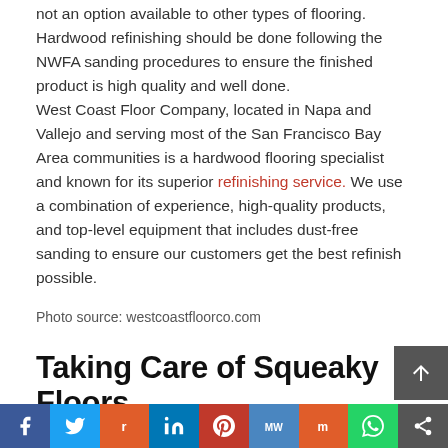not an option available to other types of flooring. Hardwood refinishing should be done following the NWFA sanding procedures to ensure the finished product is high quality and well done. West Coast Floor Company, located in Napa and Vallejo and serving most of the San Francisco Bay Area communities is a hardwood flooring specialist and known for its superior refinishing service. We use a combination of experience, high-quality products, and top-level equipment that includes dust-free sanding to ensure our customers get the best refinish possible.
Photo source: westcoastfloorco.com
Taking Care of Squeaky Floors